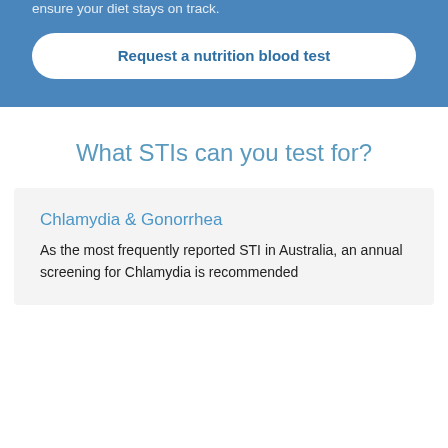ensure your diet stays on track.
Request a nutrition blood test
What STIs can you test for?
Chlamydia & Gonorrhea
As the most frequently reported STI in Australia, an annual screening for Chlamydia is recommended